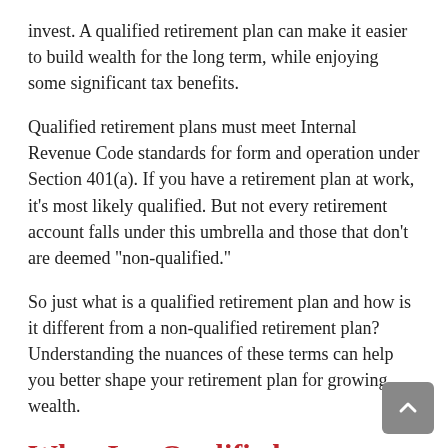invest. A qualified retirement plan can make it easier to build wealth for the long term, while enjoying some significant tax benefits.
Qualified retirement plans must meet Internal Revenue Code standards for form and operation under Section 401(a). If you have a retirement plan at work, it’s most likely qualified. But not every retirement account falls under this umbrella and those that don’t are deemed “non-qualified.”
So just what is a qualified retirement plan and how is it different from a non-qualified retirement plan? Understanding the nuances of these terms can help you better shape your retirement plan for growing wealth.
What Is a Qualified Retirement Plan?
Qualified retirement plans allow you to save money for retirement from your income on a tax-deferred basis.